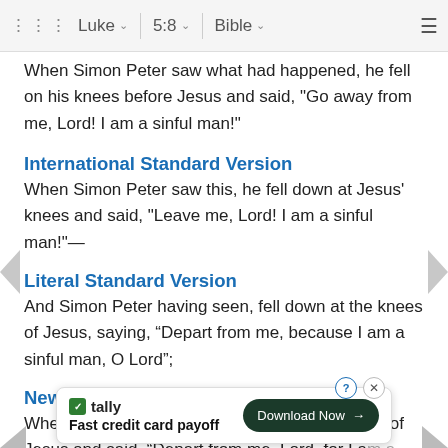Luke  5:8  Bible
When Simon Peter saw what had happened, he fell on his knees before Jesus and said, "Go away from me, Lord! I am a sinful man!"
International Standard Version
When Simon Peter saw this, he fell down at Jesus' knees and said, "Leave me, Lord! I am a sinful man!"—
Literal Standard Version
And Simon Peter having seen, fell down at the knees of Jesus, saying, “Depart from me, because I am a sinful man, O Lord”;
New American Bible
When Simon Peter saw this, he fell at the knees of Jesus and said, "Depart from me, Lord, for I am a sinful
NET
[Figure (screenshot): Advertisement banner for Tally app: Fast credit card payoff, with Download Now button]